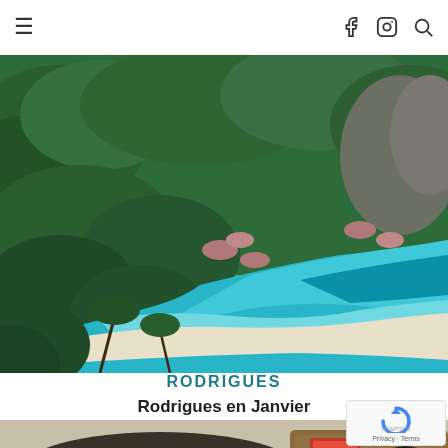☰  f  Instagram  Search
[Figure (photo): Aerial view of a tropical island beach with turquoise water, white sand, lush green jungle, and thatched-roof bungalows]
RODRIGUES
Rodrigues en Janvier
[Figure (photo): Close-up of food items: dumplings on a dark plate and sauces in small dishes on a wooden board]